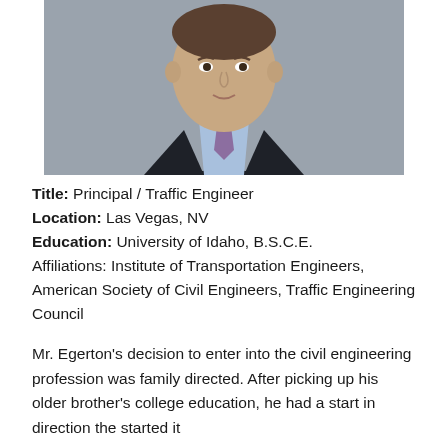[Figure (photo): Professional headshot of a man in a dark suit, light blue shirt, and patterned tie, against a gray background.]
Title: Principal / Traffic Engineer
Location: Las Vegas, NV
Education: University of Idaho, B.S.C.E.
Affiliations: Institute of Transportation Engineers, American Society of Civil Engineers, Traffic Engineering Council
Mr. Egerton's decision to enter into the civil engineering profession was family directed. After picking up his older brother's college education, he had a start in direction the started it